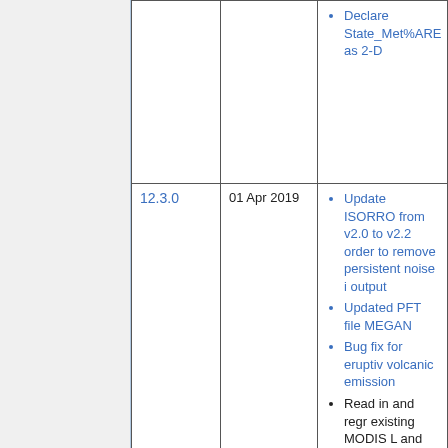| Version | Date | Notes |
| --- | --- | --- |
|  |  | Declare State_Met%ARE... as 2-D |
| 12.3.0 | 01 Apr 2019 | Update ISORRO... from v2.0 to v2.2... order to remove persistent noise i... output; Updated PFT file... MEGAN; Bug fix for eruptiv... volcanic emission...; Read in and regr... existing MODIS L... and OLSON data... HEMCO; Update from HEM... version 2.1.011 t... 2.1.012; Enable running ti... |